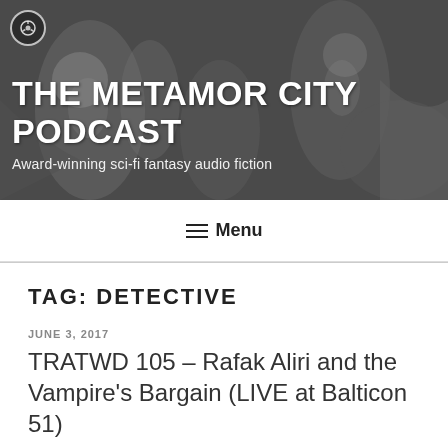THE METAMOR CITY PODCAST
Award-winning sci-fi fantasy audio fiction
≡ Menu
TAG: DETECTIVE
JUNE 3, 2017
TRATWD 105 – Rafak Aliri and the Vampire's Bargain (LIVE at Balticon 51)
In this week's episode I'm proud to bring you our Metamor City LIVE! audio drama from Balticon 51!
Cast: